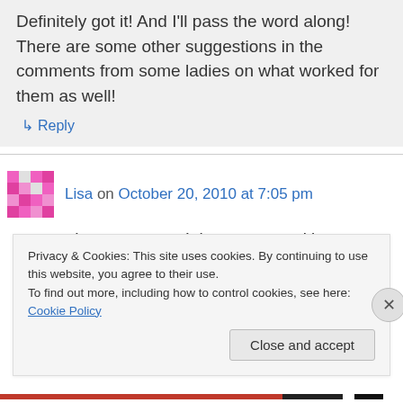Definitely got it! And I'll pass the word along! There are some other suggestions in the comments from some ladies on what worked for them as well!
↳ Reply
Lisa on October 20, 2010 at 7:05 pm
thats awesome! thats so great it's so cheap too! also, letrs send each other mixtapes ya!
Privacy & Cookies: This site uses cookies. By continuing to use this website, you agree to their use.
To find out more, including how to control cookies, see here: Cookie Policy
Close and accept